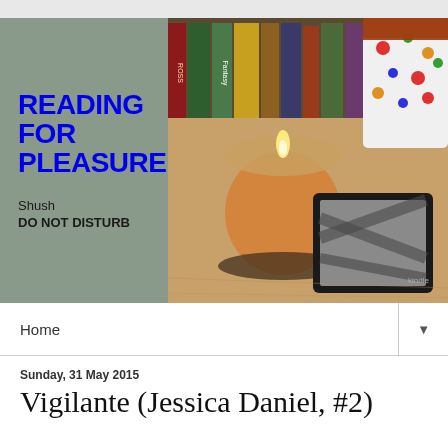[Figure (photo): Blog header image split into two parts: left side is a gray-green background with 'READING FOR PLEASURE' in bold blue text and 'Shush DO NOT DISTURB' in dark text below; right side shows a photo of books on a shelf, a lit candle in a glass jar, a polka-dot cup, and a Kindle e-reader on a wooden surface.]
Home
Sunday, 31 May 2015
Vigilante (Jessica Daniel, #2)